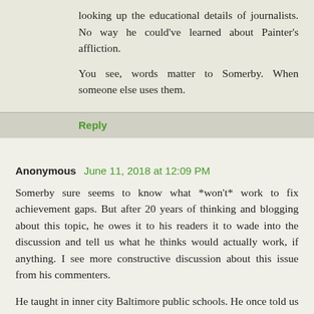looking up the educational details of journalists. No way he could've learned about Painter's affliction.
You see, words matter to Somerby. When someone else uses them.
Reply
Anonymous June 11, 2018 at 12:09 PM
Somerby sure seems to know what *won't* work to fix achievement gaps. But after 20 years of thinking and blogging about this topic, he owes it to his readers it to wade into the discussion and tell us what he thinks would actually work, if anything. I see more constructive discussion about this issue from his commenters.
He taught in inner city Baltimore public schools. He once told us of the anguish of some of his students who were having trouble performing. Did he as a teacher do something to help? Mentor that student? Talk to the parents? Suggest something to school